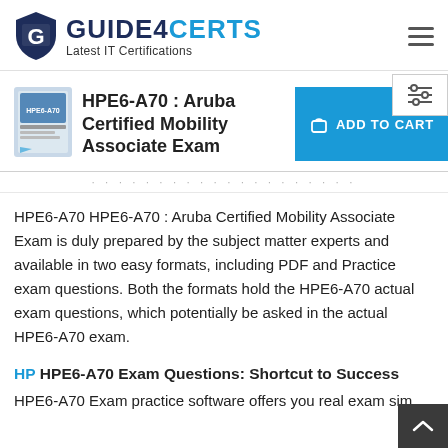[Figure (logo): Guide4Certs logo with shield icon and text 'GUIDE4CERTS Latest IT Certifications']
HPE6-A70 : Aruba Certified Mobility Associate Exam
[Figure (illustration): Product book/guide cover image for HPE6-A70 exam]
ADD TO CART
HPE6-A70 HPE6-A70 : Aruba Certified Mobility Associate Exam is duly prepared by the subject matter experts and available in two easy formats, including PDF and Practice exam questions. Both the formats hold the HPE6-A70 actual exam questions, which potentially be asked in the actual HPE6-A70 exam.
HP HPE6-A70 Exam Questions: Shortcut to Success
HPE6-A70 Exam practice software offers you real exam sim…